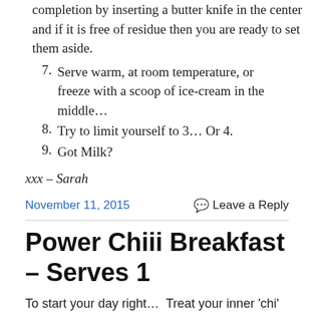completion by inserting a butter knife in the center and if it is free of residue then you are ready to set them aside.
7. Serve warm, at room temperature, or freeze with a scoop of ice-cream in the middle…
8. Try to limit yourself to 3… Or 4.
9. Got Milk?
xxx – Sarah
November 11, 2015
Leave a Reply
Power Chiii Breakfast – Serves 1
To start your day right…  Treat your inner 'chi' right with